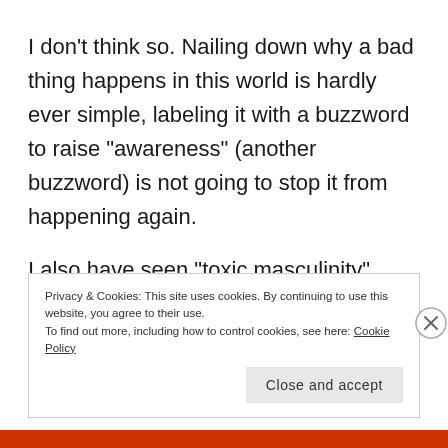I don't think so. Nailing down why a bad thing happens in this world is hardly ever simple, labeling it with a buzzword to raise “awareness” (another buzzword) is not going to stop it from happening again.
I also have seen “toxic masculinity” blamed when any gendering of a person takes place. If you call
Privacy & Cookies: This site uses cookies. By continuing to use this website, you agree to their use.
To find out more, including how to control cookies, see here: Cookie Policy